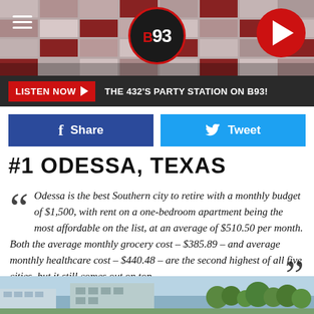[Figure (photo): Website header with building facade in background, red and grey grid pattern]
B93 — THE 432'S PARTY STATION ON B93!
LISTEN NOW ▶  THE 432'S PARTY STATION ON B93!
f Share    Tweet
#1 ODESSA, TEXAS
Odessa is the best Southern city to retire with a monthly budget of $1,500, with rent on a one-bedroom apartment being the most affordable on the list, at an average of $510.50 per month. Both the average monthly grocery cost – $385.89 – and average monthly healthcare cost – $440.48 – are the second highest of all five cities, but it still comes out on top.
[Figure (photo): Street-level photo of a city building exterior with trees]